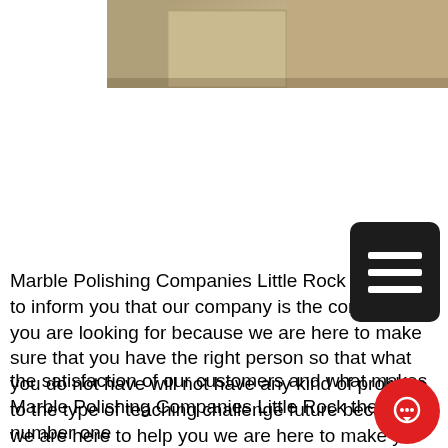[Figure (photo): Partial photo of bathroom/room interior showing beige/tan colored surfaces, visible at top of page]
Marble Polishing Companies Little Rock are here to inform you that our company is the company you are looking for because we are here to make sure that you have the right person so that what you do not have will not have any kind of problem to the type of teaching challenge future because we are here to help you we are here to make y... stressing why y... and at any time... help me becaus... what you see if you are not satisfied.
[Figure (screenshot): Chat widget overlay showing close button and 'Hi there, have a question? Text us here.' message bubble with cartoon character icon]
the satisfaction of our customers and what makes Marble Polishing Companies Little Rock the number one